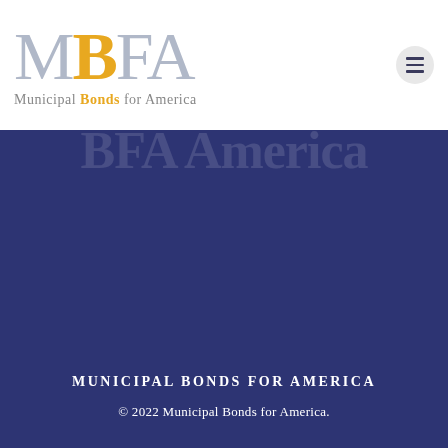[Figure (logo): MBFA – Municipal Bonds for America logo with large stylized letters M (gray), B (gold/yellow), F (gray), A (gray) and tagline 'Municipal Bonds for America' below]
[Figure (other): Hamburger menu button (three horizontal lines) in a light gray circle, top-right of header]
[Figure (other): Dark navy blue hero banner section with faint watermark text 'BFA America' at the top]
MUNICIPAL BONDS FOR AMERICA
© 2022 Municipal Bonds for America.